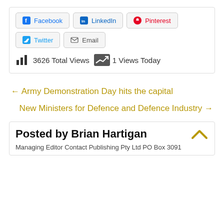[Figure (infographic): Social share buttons: Facebook, LinkedIn, Pinterest (row 1), Twitter, Email (row 2), plus view count stats showing 3626 Total Views and 1 Views Today with bar chart and trend icons]
← Army Demonstration Day hits the capital
New Ministers for Defence and Defence Industry →
Posted by Brian Hartigan
Managing Editor Contact Publishing Pty Ltd PO Box 3091